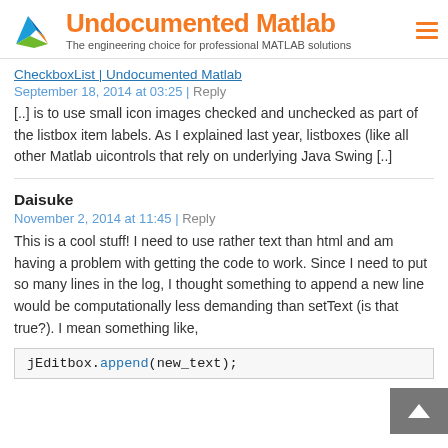Undocumented Matlab – The engineering choice for professional MATLAB solutions
CheckboxList | Undocumented Matlab
September 18, 2014 at 03:25 | Reply
[..] is to use small icon images checked and unchecked as part of the listbox item labels. As I explained last year, listboxes (like all other Matlab uicontrols that rely on underlying Java Swing [..]
Daisuke
November 2, 2014 at 11:45 | Reply
This is a cool stuff! I need to use rather text than html and am having a problem with getting the code to work. Since I need to put so many lines in the log, I thought something to append a new line would be computationally less demanding than setText (is that true?). I mean something like,